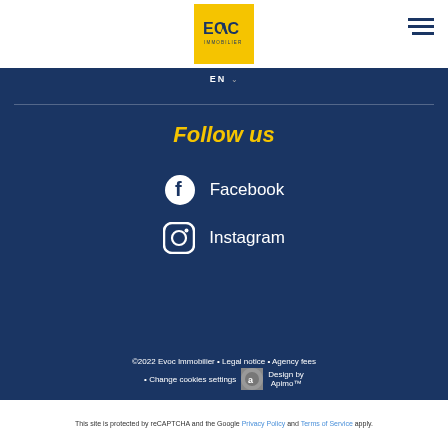[Figure (logo): EVOC Immobilier yellow square logo with dark blue text and downward triangle as letter V]
[Figure (other): Hamburger menu icon with three dark blue horizontal lines]
EN ▾
Follow us
Facebook
Instagram
©2022 Evoc Immobilier • Legal notice • Agency fees • Change cookies settings Design by Apimo™
This site is protected by reCAPTCHA and the Google Privacy Policy and Terms of Service apply.